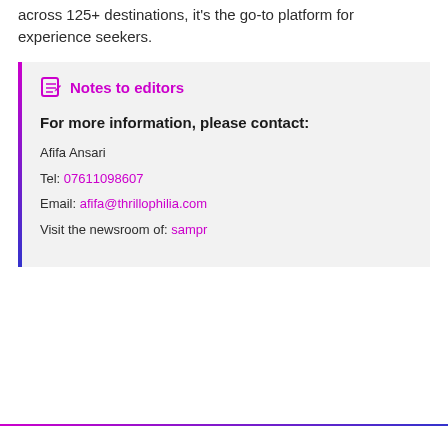across 125+ destinations, it's the go-to platform for experience seekers.
Notes to editors
For more information, please contact:
Afifa Ansari
Tel: 07611098607
Email: afifa@thrillophilia.com
Visit the newsroom of: sampr